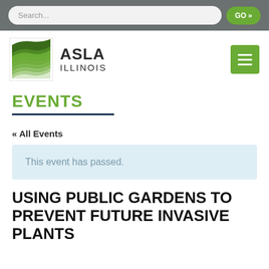Search...  GO »
[Figure (logo): ASLA Illinois logo with green wave/landscape graphic and text ASLA ILLINOIS]
EVENTS
« All Events
This event has passed.
USING PUBLIC GARDENS TO PREVENT FUTURE INVASIVE PLANTS